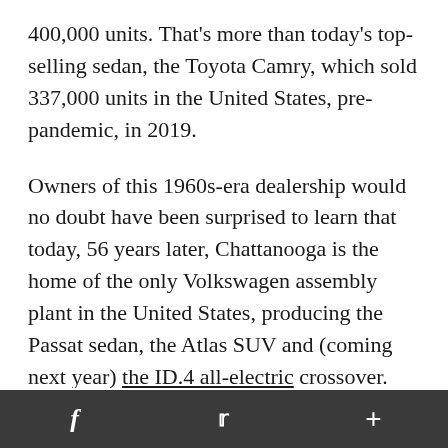400,000 units. That's more than today's top-selling sedan, the Toyota Camry, which sold 337,000 units in the United States, pre-pandemic, in 2019.
Owners of this 1960s-era dealership would no doubt have been surprised to learn that today, 56 years later, Chattanooga is the home of the only Volkswagen assembly plant in the United States, producing the Passat sedan, the Atlas SUV and (coming next year) the ID.4 all-electric crossover.
f  [twitter bird]  +